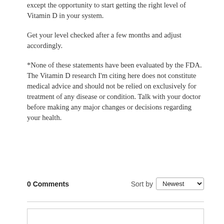except the opportunity to start getting the right level of Vitamin D in your system.
Get your level checked after a few months and adjust accordingly.
*None of these statements have been evaluated by the FDA. The Vitamin D research I’m citing here does not constitute medical advice and should not be relied on exclusively for treatment of any disease or condition. Talk with your doctor before making any major changes or decisions regarding your health.
0 Comments   Sort by Newest